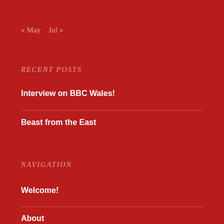« May   Jul »
RECENT POSTS
Interview on BBC Wales!
Beast from the East
NAVIGATION
Welcome!
About
Contact